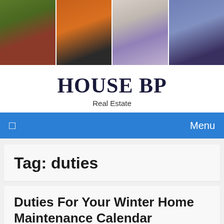[Figure (photo): Four property photos in a horizontal strip: exterior of brick house with garden, living room with orange sofa, kitchen/dining with purple chairs, bedroom with blue bedding]
HOUSE BP
Real Estate
❐  Menu
Tag: duties
Duties For Your Winter Home Maintenance Calendar